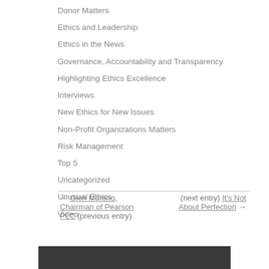Donor Matters
Ethics and Leadership
Ethics in the News
Governance, Accountability and Transparency
Highlighting Ethics Excellence
Interviews
New Ethics for New Issues
Non-Profit Organizations Matters
Risk Management
Top 5
Uncategorized
Unusual Ethics
Video
← Glen Moreno, Chairman of Pearson PLC (previous entry)   (next entry) It's Not About Perfection →